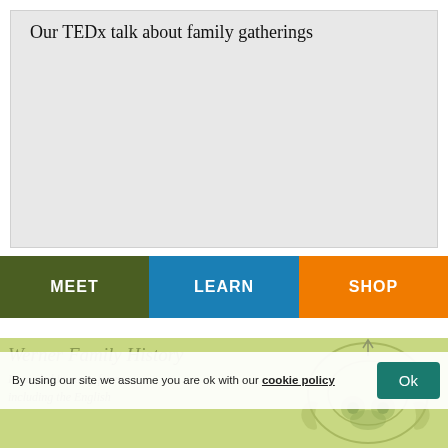[Figure (other): Light grey video placeholder box with title text 'Our TEDx talk about family gatherings' at top left]
Our TEDx talk about family gatherings
[Figure (infographic): Navigation bar with three colored buttons: MEET (olive green), LEARN (blue), SHOP (orange)]
Werner Family History
Recorded in many forms including the English
By using our site we assume you are ok with our cookie policy  Ok